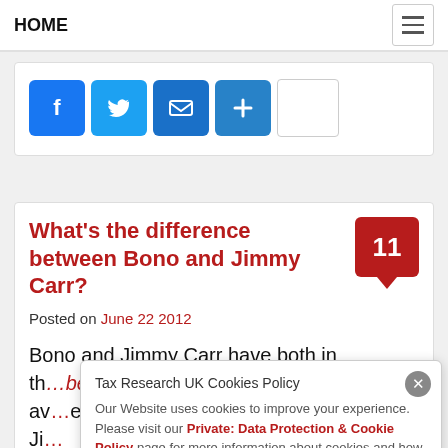HOME
[Figure (other): Social share buttons: Facebook, Twitter, Email, Plus, and an empty button]
What's the difference between Bono and Jimmy Carr?
Posted on June 22 2012
Bono and Jimmy Carr have both in th... av... Ji... Re...
Tax Research UK Cookies Policy
Our Website uses cookies to improve your experience. Please visit our Private: Data Protection & Cookie Policy page for more information about cookies and how we use them.